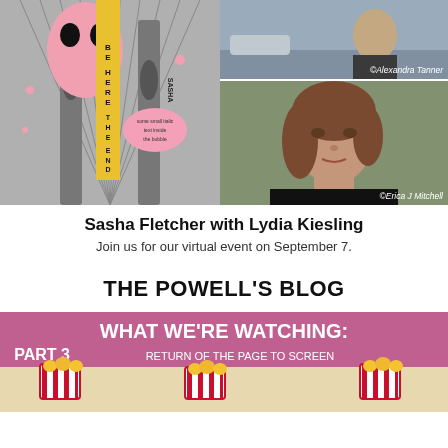[Figure (illustration): Book cover for 'Be Here The End' by Sasha Fletcher showing Brooklyn Bridge in black and white with pink cartoon owl-like creature with black eyes, yellow vertical text banner, and pink speech bubble with text]
[Figure (photo): Headshot of a man (partially cropped) with photo credit ©Alexandra Tanner]
[Figure (photo): Portrait photo of Lydia Kiesling, a woman with brown hair, against a green-gray background, with photo credit ©Erica J Mitchell]
Sasha Fletcher with Lydia Kiesling
Join us for our virtual event on September 7.
THE POWELL'S BLOG
[Figure (infographic): Blog banner reading 'WHAT WE'RE WATCHING: PART 3 RETURN OF THE PAGE TO SCREEN' with purple/pink background and three popcorn buckets]